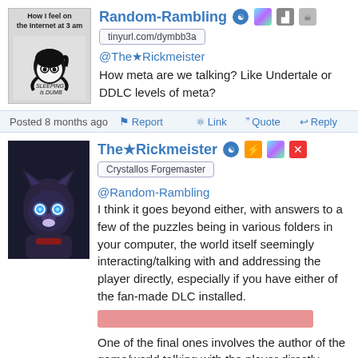[Figure (illustration): Avatar image: black and white cartoon of a person with big eyes and text 'How I feel on the Internet at 3 am' and 'SLEEPING is DUMB']
Random-Rambling
tinyurl.com/dymbb3a
@The★Rickmeister
How meta are we talking? Like Undertale or DDLC levels of meta?
Posted 8 months ago  Report  Link  Quote  Reply
[Figure (photo): Avatar image: dark fantasy creature/cat-like character with blue glowing eyes on dark background]
The★Rickmeister
Crystallos Forgemaster
@Random-Rambling
I think it goes beyond either, with answers to a few of the puzzles being in various folders in your computer, the world itself seemingly interacting/talking with and addressing the player directly, especially if you have either of the fan-made DLC installed.
[Figure (other): Redacted/censored salmon-pink bar covering some text]
One of the final ones involves the author of the game/world talking with the player directly through a seemingly self-downloaded file that you need to open